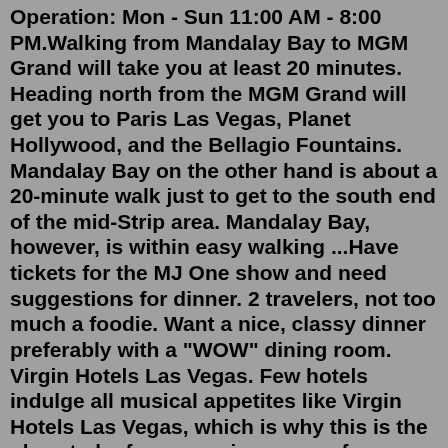Operation: Mon - Sun 11:00 AM - 8:00 PM.Walking from Mandalay Bay to MGM Grand will take you at least 20 minutes. Heading north from the MGM Grand will get you to Paris Las Vegas, Planet Hollywood, and the Bellagio Fountains. Mandalay Bay on the other hand is about a 20-minute walk just to get to the south end of the mid-Strip area. Mandalay Bay, however, is within easy walking ...Have tickets for the MJ One show and need suggestions for dinner. 2 travelers, not too much a foodie. Want a nice, classy dinner preferably with a "WOW" dining room. Virgin Hotels Las Vegas. Few hotels indulge all musical appetites like Virgin Hotels Las Vegas, which is why this is the place to be for a massive range of one-night-only concert experiences that you won't want to miss.From under-the-radar indie bands to best-selling rockers from the 70s and 80s, Virgin Hotels Las Vegas has an upcoming live music show for any genre of music lover.Citizens Kitchen & Bar. #419 of 4,411 Restaurants in Las Vegas. 1,440 reviews. 3950 Las Vegas Blvd S